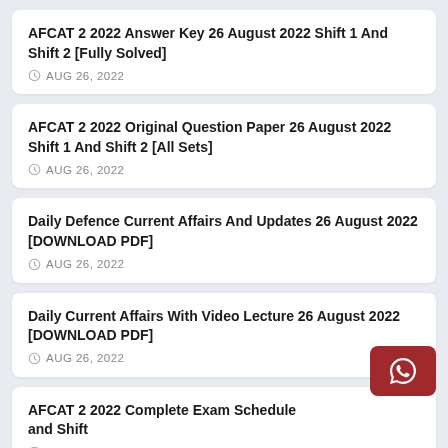AFCAT 2 2022 Answer Key 26 August 2022 Shift 1 And Shift 2 [Fully Solved]
AUG 26, 2022
AFCAT 2 2022 Original Question Paper 26 August 2022 Shift 1 And Shift 2 [All Sets]
AUG 26, 2022
Daily Defence Current Affairs And Updates 26 August 2022 [DOWNLOAD PDF]
AUG 26, 2022
Daily Current Affairs With Video Lecture 26 August 2022 [DOWNLOAD PDF]
AUG 26, 2022
AFCAT 2 2022 Complete Exam Schedule and Shift
AUG 26, 2022